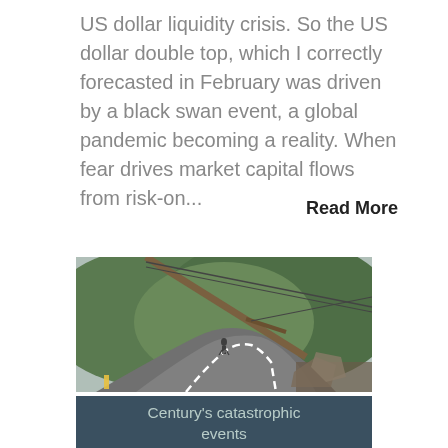US dollar liquidity crisis. So the US dollar double top, which I correctly forecasted in February was driven by a black swan event, a global pandemic becoming a reality. When fear drives market capital flows from risk-on...
Read More
[Figure (photo): Photo of a damaged road with a fallen utility pole leaning across it, surrounded by lush green forested hills. Debris and broken road surface visible. A person stands in the background.]
Century's catastrophic events